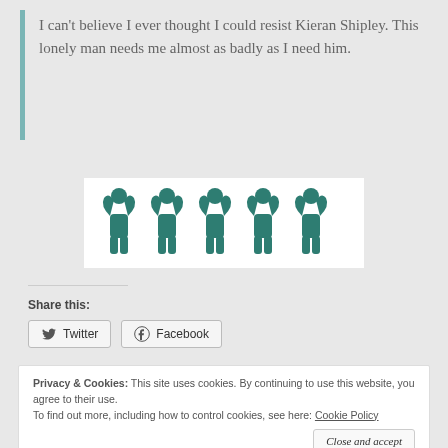I can't believe I ever thought I could resist Kieran Shipley. This lonely man needs me almost as badly as I need him.
[Figure (illustration): Five teal/dark green muscular figure icons (flexing bodybuilder silhouettes) arranged in a row on a white background, used as a star rating graphic.]
Share this:
Twitter
Facebook
Privacy & Cookies:  This site uses cookies. By continuing to use this website, you agree to their use.
To find out more, including how to control cookies, see here: Cookie Policy
Close and accept